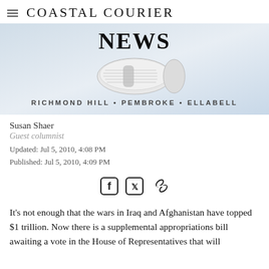Coastal Courier
[Figure (illustration): Coastal Courier News banner with a rolled newspaper graphic and subtitle 'Richmond Hill • Pembroke • Ellabell']
Susan Shaer
Guest columnist
Updated: Jul 5, 2010, 4:08 PM
Published: Jul 5, 2010, 4:09 PM
[Figure (infographic): Social sharing icons: Facebook, Twitter, and link/chain icon]
It's not enough that the wars in Iraq and Afghanistan have topped $1 trillion. Now there is a supplemental appropriations bill awaiting a vote in the House of Representatives that will